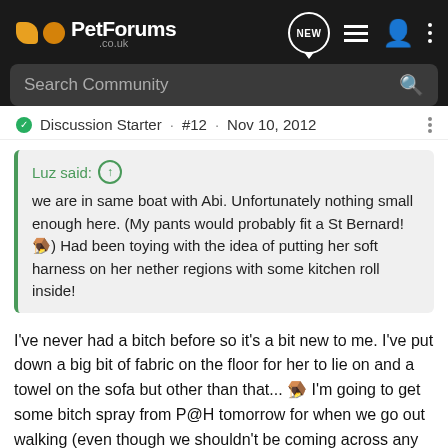PetForums .co.uk
Search Community
Discussion Starter · #12 · Nov 10, 2012
Luz said: ↑
we are in same boat with Abi. Unfortunately nothing small enough here. (My pants would probably fit a St Bernard! 🙄) Had been toying with the idea of putting her soft harness on her nether regions with some kitchen roll inside!
I've never had a bitch before so it's a bit new to me. I've put down a big bit of fabric on the floor for her to lie on and a towel on the sofa but other than that... 🙄 I'm going to get some bitch spray from P@H tomorrow for when we go out walking (even though we shouldn't be coming across any dogs where I'll be taking her). Quite miffed about the timing tbh, we were planning to walk with her brother tomorrow who we haven't seen since